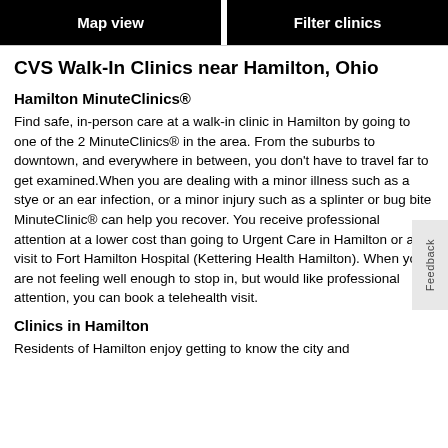Map view | Filter clinics
CVS Walk-In Clinics near Hamilton, Ohio
Hamilton MinuteClinics®
Find safe, in-person care at a walk-in clinic in Hamilton by going to one of the 2 MinuteClinics® in the area. From the suburbs to downtown, and everywhere in between, you don't have to travel far to get examined.When you are dealing with a minor illness such as a stye or an ear infection, or a minor injury such as a splinter or bug bite MinuteClinic® can help you recover. You receive professional attention at a lower cost than going to Urgent Care in Hamilton or a visit to Fort Hamilton Hospital (Kettering Health Hamilton). When you are not feeling well enough to stop in, but would like professional attention, you can book a telehealth visit.
Clinics in Hamilton
Residents of Hamilton enjoy getting to know the city and